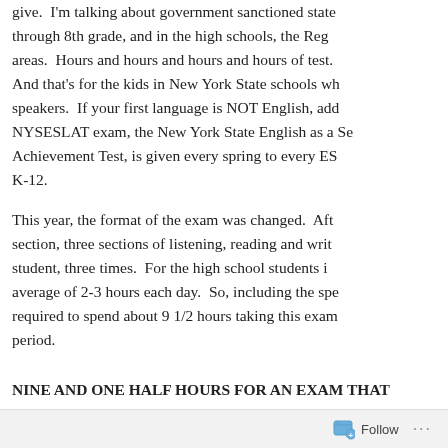give.  I'm talking about government sanctioned state through 8th grade, and in the high schools, the Reg areas.  Hours and hours and hours and hours of test. And that's for the kids in New York State schools who speakers.  If your first language is NOT English, add NYSESLAT exam, the New York State English as a Se Achievement Test, is given every spring to every ES K-12.
This year, the format of the exam was changed.  Aft section, three sections of listening, reading and writ student, three times.  For the high school students i average of 2-3 hours each day.  So, including the spe required to spend about 9 1/2 hours taking this exam period.
NINE AND ONE HALF HOURS FOR AN EXAM THAT
Follow ···